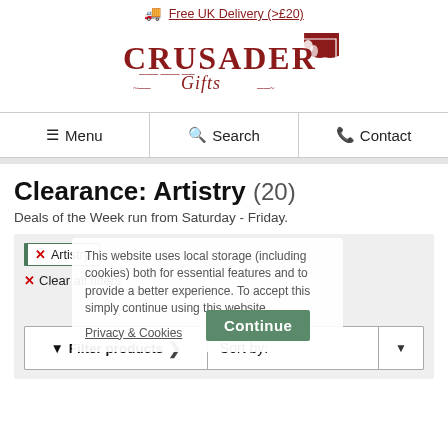🚚 Free UK Delivery (>£20)
[Figure (logo): Crusader Gifts logo with shield emblem, red serif text]
≡ Menu  🔍 Search  📞 Contact
Clearance: Artistry (20)
Deals of the Week run from Saturday - Friday.
Artistry ✕
✕ Clear all filters
This website uses local storage (including cookies) both for essential features and to provide a better experience. To accept this simply continue using this website.
Privacy & Cookies
Continue
▼ Filter products  ❯   Sort by:  ▼